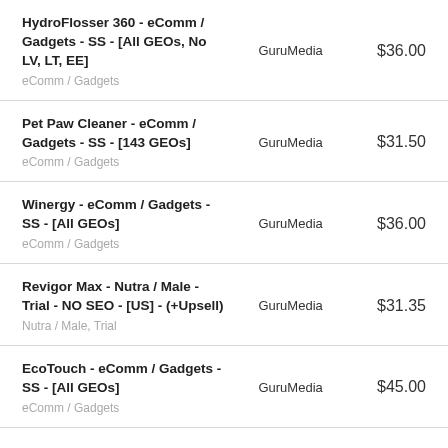| Offer | Network | Price |
| --- | --- | --- |
| HydroFlosser 360 - eComm / Gadgets - SS - [All GEOs, No LV, LT, EE]
eComm / Gadgets | GuruMedia | $36.00 |
| Pet Paw Cleaner - eComm / Gadgets - SS - [143 GEOs]
eComm / Gadgets | GuruMedia | $31.50 |
| Winergy - eComm / Gadgets - SS - [All GEOs]
eComm / Gadgets | GuruMedia | $36.00 |
| Revigor Max - Nutra / Male - Trial - NO SEO - [US] - (+Upsell)
Nutra / Male, Trial | GuruMedia | $31.35 |
| EcoTouch - eComm / Gadgets - SS - [All GEOs]
eComm / Gadgets | GuruMedia | $45.00 |